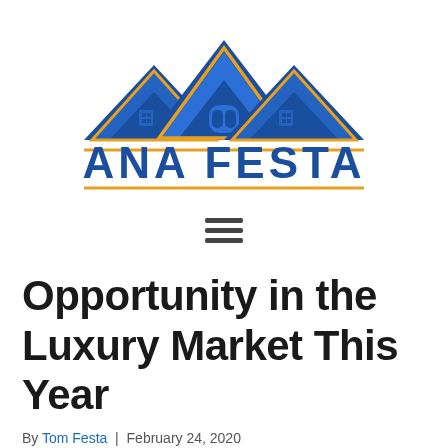[Figure (logo): Ana Festa real estate logo featuring three house rooftop silhouettes in blue and gold/orange with the text ANA FESTA below in large blue letters, with a gold/orange horizontal line above and below the name.]
[Figure (other): Hamburger menu icon (three horizontal dark lines)]
Opportunity in the Luxury Market This Year
By Tom Festa  |  February 24, 2020